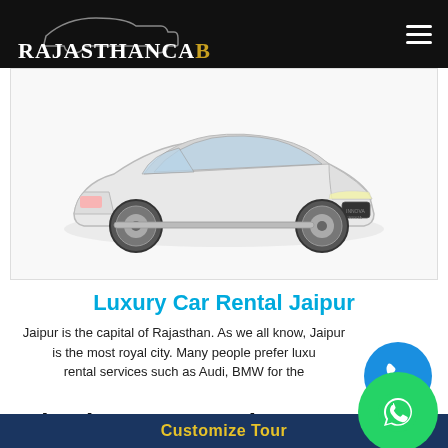RajasthancaB
[Figure (photo): White Toyota luxury sedan car photo]
Luxury Car Rental Jaipur
Jaipur is the capital of Rajasthan. As we all know, Jaipur is the most royal city. Many people prefer luxury rental services such as Audi, BMW for their...
Rajasthan Tour Packages From
Customize Tour